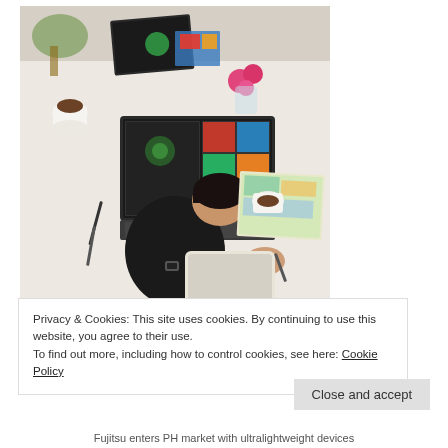[Figure (photo): Overhead view of a person with short dark hair wearing a black shirt, sitting at a white desk with a laptop showing colorful designs, a tablet, coffee cups, pink flowers, craft supplies, and books/notebooks spread around.]
Privacy & Cookies: This site uses cookies. By continuing to use this website, you agree to their use.
To find out more, including how to control cookies, see here: Cookie Policy
Close and accept
Fujitsu enters PH market with ultralightweight devices